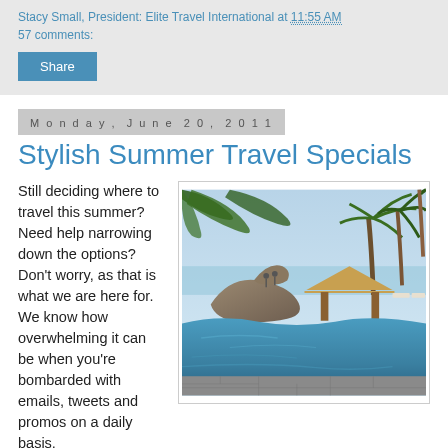Stacy Small, President: Elite Travel International at 11:55 AM
57 comments:
Share
Monday, June 20, 2011
Stylish Summer Travel Specials
Still deciding where to travel this summer? Need help narrowing down the options? Don't worry, as that is what we are here for. We know how overwhelming it can be when you're bombarded with emails, tweets and promos on a daily basis, so we regularly scour our luxury
[Figure (photo): Tropical resort pool with palm trees, thatched-roof pavilion, rocky outcrop, and clear blue water under bright sky.]
promos on a daily basis, so we regularly scour our luxury